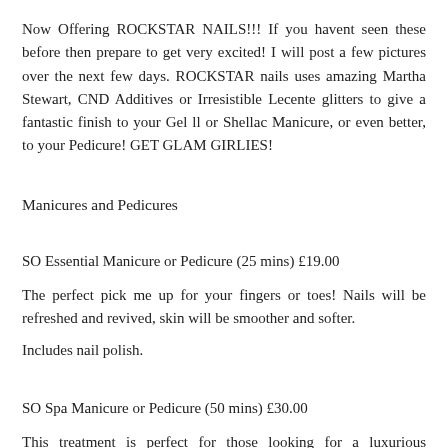Now Offering ROCKSTAR NAILS!!! If you havent seen these before then prepare to get very excited! I will post a few pictures over the next few days. ROCKSTAR nails uses amazing Martha Stewart, CND Additives or Irresistible Lecente glitters to give a fantastic finish to your Gel ll or Shellac Manicure, or even better, to your Pedicure! GET GLAM GIRLIES!
Manicures and Pedicures
SO Essential Manicure or Pedicure (25 mins) £19.00
The perfect pick me up for your fingers or toes! Nails will be refreshed and revived, skin will be smoother and softer.
Includes nail polish.
SO Spa Manicure or Pedicure (50 mins) £30.00
This treatment is perfect for those looking for a luxurious manicure or pedicure. Treatment includes a divine soak, cuticle and nail